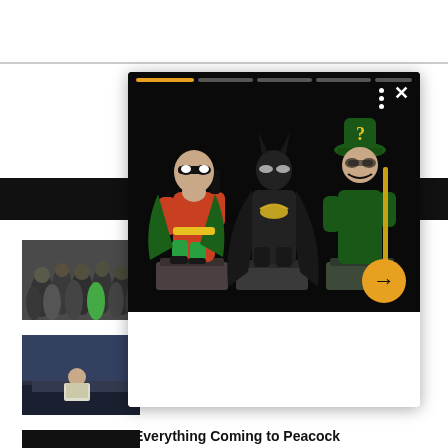[Figure (screenshot): Web page screenshot showing a popup overlay card with DC Batman Forever miniature figurines (Robin, Batman, Riddler) on a dark background with a progress bar at top, orange arrow button, three-dot menu, and close X button. Below the popup is text 'Jungle'. Left column shows two movie thumbnail images and a dark strip. A black horizontal bar crosses the middle. Text 'Everything Coming to Peacock' appears at bottom right.]
Jungle
Everything Coming to Peacock